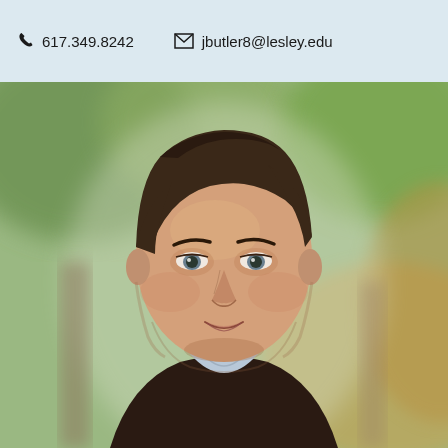617.349.8242   jbutler8@lesley.edu
[Figure (photo): Professional headshot of a middle-aged man with dark hair wearing a dark blazer and light blue collared shirt, photographed outdoors with blurred green and warm bokeh background.]